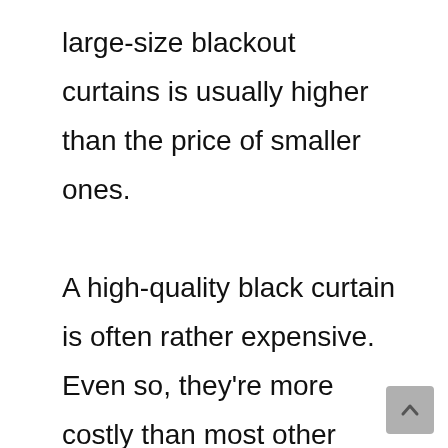large-size blackout curtains is usually higher than the price of smaller ones.

A high-quality black curtain is often rather expensive. Even so, they're more costly than most other curtain options. These things, on the other hand, are also very durable and have a lot of benefits. As a result, blackout curtains are a good investment.